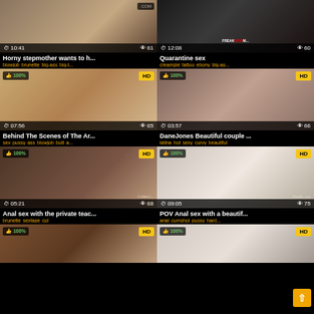[Figure (screenshot): Video thumbnail row 1 left: duration 10:41, views 61, title Horny stepmother wants to h..., tags: blowjob brunette big-ass big-t...]
[Figure (screenshot): Video thumbnail row 1 right: duration 12:08, views 60, watermark FREAKMO... title Quarantine sex, tags: creampie tattoo ebony big-as...]
[Figure (screenshot): Video thumbnail row 2 left: 100% HD, duration 07:56, views 65, title Behind The Scenes of The Ar..., tags: sex pussy ass blowjob butt a...]
[Figure (screenshot): Video thumbnail row 2 right: 100% HD, duration 03:57, views 66, title DaneJones Beautiful couple ..., tags: latina hot sexy curvy beautiful]
[Figure (screenshot): Video thumbnail row 3 left: 100% HD, duration 05:21, views 68, watermark CLIMAX..., title Anal sex with the private teac..., tags: brunette sextape cul]
[Figure (screenshot): Video thumbnail row 3 right: 100% HD, duration 09:05, views 75, watermark RomiFu...com, title POV Anal sex with a beautif..., tags: anal cumshot pussy hard...]
[Figure (screenshot): Video thumbnail row 4 left: 100% HD (partially visible)]
[Figure (screenshot): Video thumbnail row 4 right: 100% HD (partially visible)]